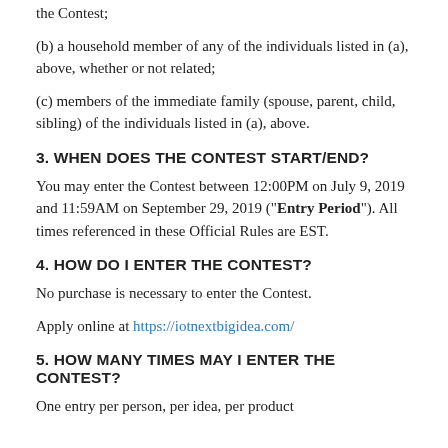the Contest;
(b) a household member of any of the individuals listed in (a), above, whether or not related;
(c) members of the immediate family (spouse, parent, child, sibling) of the individuals listed in (a), above.
3. WHEN DOES THE CONTEST START/END?
You may enter the Contest between 12:00PM on July 9, 2019 and 11:59AM on September 29, 2019 (“Entry Period”). All times referenced in these Official Rules are EST.
4. HOW DO I ENTER THE CONTEST?
No purchase is necessary to enter the Contest.
Apply online at https://iotnextbigidea.com/
5. HOW MANY TIMES MAY I ENTER THE CONTEST?
One entry per person, per idea, per product